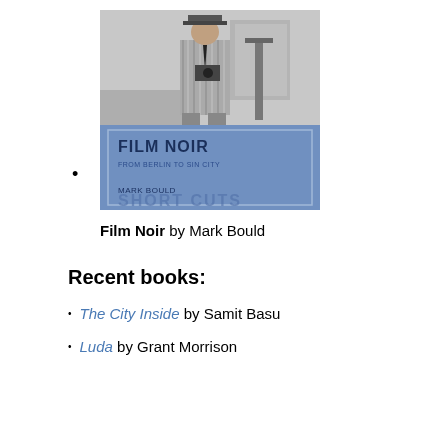[Figure (photo): Book cover of 'Film Noir: From Berlin to Sin City' by Mark Bould, Short Cuts series. Top half is a black-and-white photograph of a man in a striped suit and hat holding a camera in an office/studio setting. Bottom half is a blue panel with the book title 'FILM NOIR FROM BERLIN TO SIN CITY', author name 'MARK BOULD', and series name 'SHORT CUTS'.]
Film Noir by Mark Bould
Recent books:
The City Inside by Samit Basu
Luda by Grant Morrison